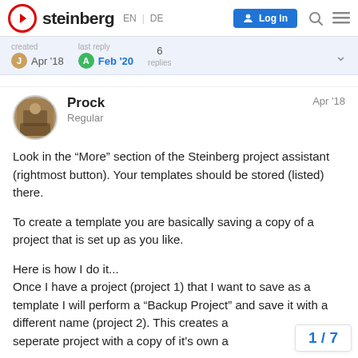steinberg EN | DE  Log In
| created | last reply | replies |
| --- | --- | --- |
| Apr '18 | Feb '20 | 6 |
Prock — Regular — Apr '18
Look in the “More” section of the Steinberg project assistant (rightmost button). Your templates should be stored (listed) there.

To create a template you are basically saving a copy of a project that is set up as you like.

Here is how I do it...
Once I have a project (project 1) that I want to save as a template I will perform a “Backup Project” and save it with a different name (project 2). This creates a seperate project with a copy of it’s own a
1 / 7